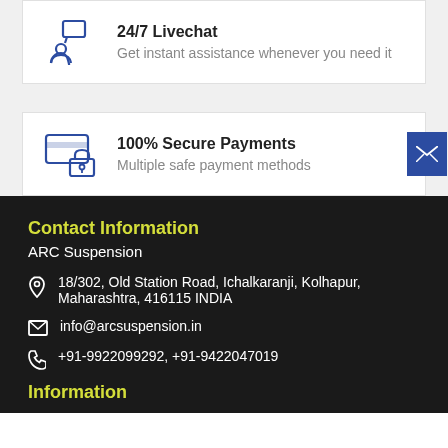24/7 Livechat
Get instant assistance whenever you need it
100% Secure Payments
Multiple safe payment methods
Contact Information
ARC Suspension
18/302, Old Station Road, Ichalkaranji, Kolhapur, Maharashtra, 416115 INDIA
info@arcsuspension.in
+91-9922099292,  +91-9422047019
Information